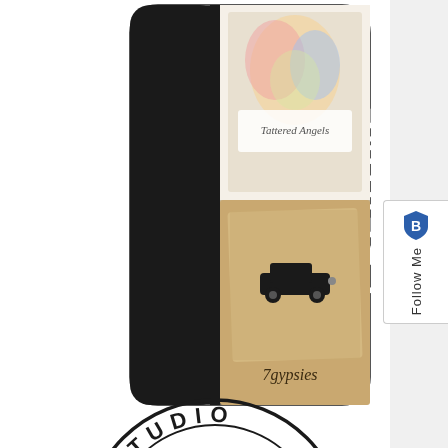[Figure (logo): Creative app/brand logo showing a phone case or book cover with 'CREATIVE' text vertically on the left side in white on black background, and two brand images on the right: Tattered Angels (angel illustration) and 7gypsies (vintage car on kraft paper)]
[Figure (logo): Studio Forty logo: circular stamp design with 'STUDIO' text on top arc and 'FORTY' text on bottom arc, with decorative leaf/branch elements on sides and geometric angular fish or arrow shapes made of triangles in the center, all in black on white]
[Figure (logo): Partial circular logo visible at bottom of page, appears to be brown/tan colored, only top portion visible]